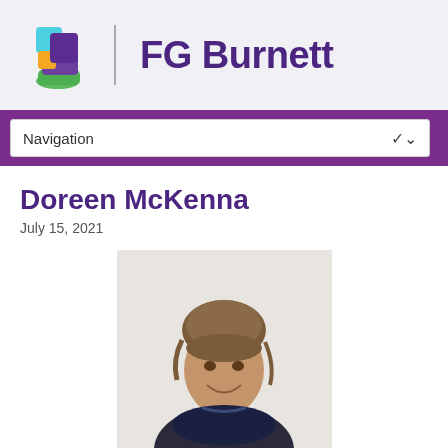[Figure (logo): FG Burnett logo with colorful abstract icon (teal, orange, purple, green squares) and bold purple text 'FG Burnett']
Navigation
Doreen McKenna
July 15, 2021
[Figure (photo): Portrait photo of Doreen McKenna, a woman with brown hair with bangs pulled up, smiling, wearing a dark patterned top, against a light background]